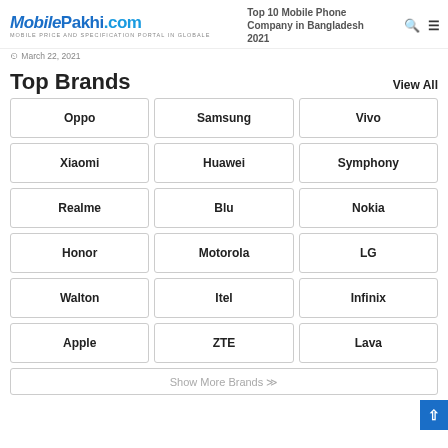MobilePakhi.com — MOBILE PRICE AND SPECIFICATION PORTAL IN GLOBALE
Top 10 Mobile Phone Company in Bangladesh 2021
March 22, 2021
Top Brands
View All
Oppo
Samsung
Vivo
Xiaomi
Huawei
Symphony
Realme
Blu
Nokia
Honor
Motorola
LG
Walton
Itel
Infinix
Apple
ZTE
Lava
Show More Brands